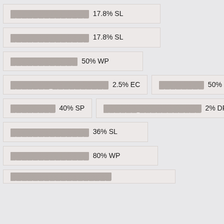▓▓▓▓▓▓▓▓▓▓▓▓▓▓ 17.8% SL
▓▓▓▓▓▓▓▓▓▓▓▓▓▓ 17.8% SL
▓▓▓▓▓▓▓▓▓▓▓▓ 50% WP
▓▓▓▓▓▓▓-▓▓▓▓▓▓▓▓▓▓ 2.5% EC
▓▓▓▓▓▓▓▓ 50% WP
▓▓▓▓▓▓▓▓ 40% SP
▓▓▓▓▓▓ ▓▓▓▓▓▓▓▓▓▓▓ 2% DP
▓▓▓▓▓▓▓▓▓▓▓▓▓▓ 36% SL
▓▓▓▓▓▓▓▓▓▓▓▓▓▓ 80% WP
▓▓▓▓▓▓▓▓▓▓▓▓▓▓▓▓▓